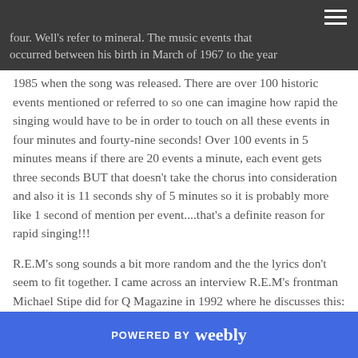four. Well's refer to mineral. The music events that occurred between his birth in March of 1967 to the year 1985 when the song was released.
There are over 100 historic events mentioned or referred to so one can imagine how rapid the singing would have to be in order to touch on all these events in four minutes and fourty-nine seconds! Over 100 events in 5 minutes means if there are 20 events a minute, each event gets three seconds BUT that doesn't take the chorus into consideration and also it is 11 seconds shy of 5 minutes so it is probably more like 1 second of mention per event....that's a definite reason for rapid singing!!!
R.E.M's song sounds a bit more random and the the lyrics don't seem to fit together. I came across an interview R.E.M's frontman Michael Stipe did for Q Magazine in 1992 where he discusses this:
POWERED BY weebly